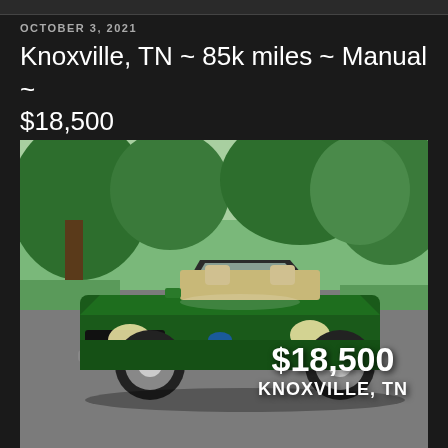OCTOBER 3, 2021
Knoxville, TN ~ 85k miles ~ Manual ~ $18,500
[Figure (photo): Green Ford Mustang convertible with top down parked in a driveway, surrounded by trees and greenery. Price overlay shows $18,500 and KNOXVILLE, TN in white bold text.]